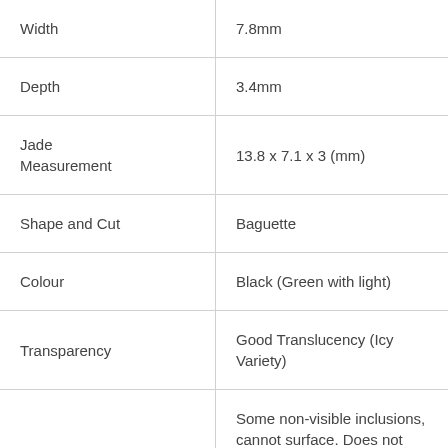| Width | 7.8mm |
| Depth | 3.4mm |
| Jade
Measurement | 13.8 x 7.1 x 3 (mm) |
| Shape and Cut | Baguette |
| Colour | Black (Green with light) |
| Transparency | Good Translucency (Icy Variety) |
|  | Some non-visible inclusions, cannot surface. Does not affect overall outlo |